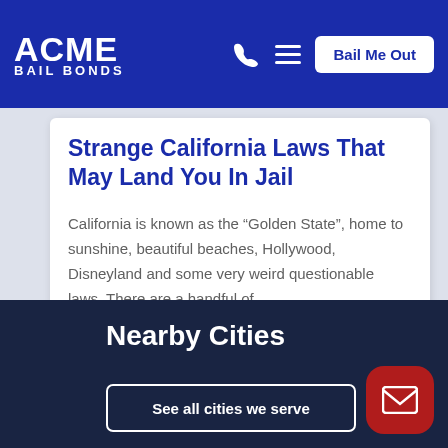ACME BAIL BONDS | Bail Me Out
Strange California Laws That May Land You In Jail
California is known as the “Golden State”, home to sunshine, beautiful beaches, Hollywood, Disneyland and some very weird questionable laws. There are a handful of
Nearby Cities
See all cities we serve